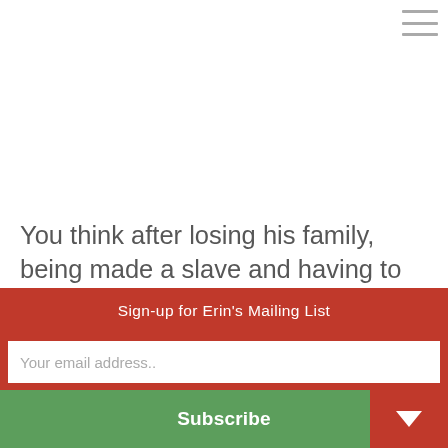You think after losing his family, being made a slave and having to fight a tiger, Maximus wouldn't have wished a little shingles on Commodus? That when Lex Luthor had that Kryptonite all up in his face, Superman didn't wish the tables were turned?
Sign-up for Erin's Mailing List
Your email address..
Subscribe